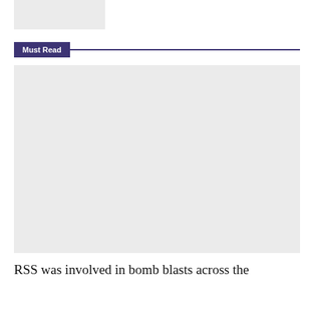[Figure (photo): Small gray placeholder image in top left area]
Must Read
[Figure (photo): Large gray placeholder image below the Must Read header]
RSS was involved in bomb blasts across the